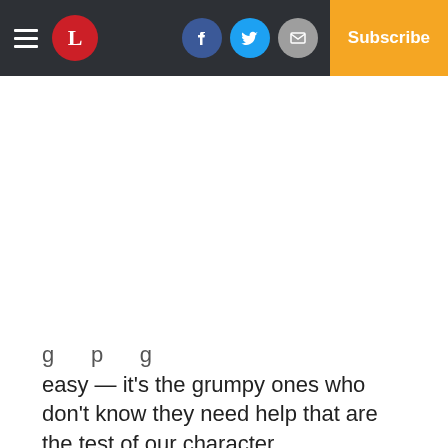Navigation bar with hamburger menu, L logo, Facebook, Twitter, Email buttons, Log In, Subscribe
g ... p ... g
easy — it's the grumpy ones who don't know they need help that are the test of our character.